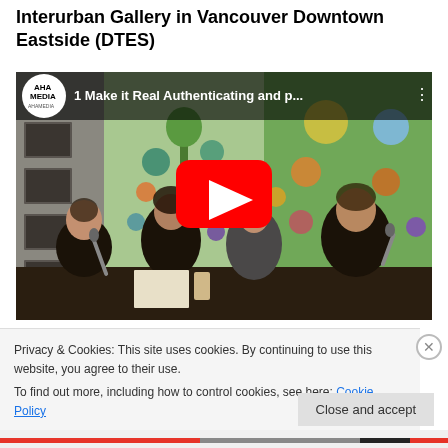Interurban Gallery in Vancouver Downtown Eastside (DTES)
[Figure (screenshot): YouTube video thumbnail showing AHA Media logo, title '1 Make it Real Authenticating and p...' with a panel of people seated at a table in front of Indigenous artwork, with a red YouTube play button overlay]
Privacy & Cookies: This site uses cookies. By continuing to use this website, you agree to their use.
To find out more, including how to control cookies, see here: Cookie Policy
Close and accept